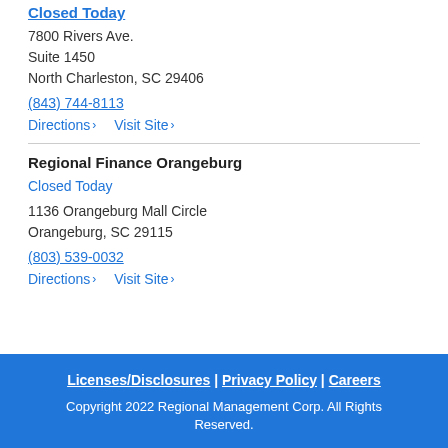Closed Today
7800 Rivers Ave.
Suite 1450
North Charleston, SC 29406
(843) 744-8113
Directions › Visit Site ›
Regional Finance Orangeburg
Closed Today
1136 Orangeburg Mall Circle
Orangeburg, SC 29115
(803) 539-0032
Directions › Visit Site ›
Licenses/Disclosures | Privacy Policy | Careers
Copyright 2022 Regional Management Corp. All Rights Reserved.